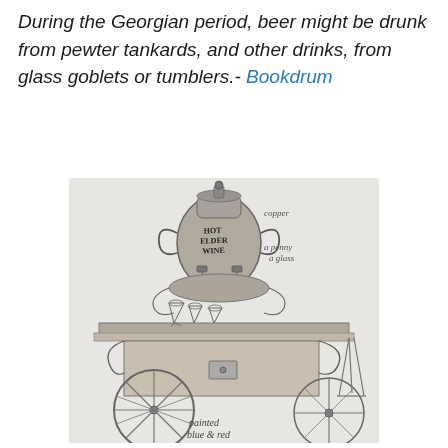During the Georgian period, beer might be drunk from pewter tankards, and other drinks, from glass goblets or tumblers.- Bookdrum
[Figure (illustration): A pencil sketch of a Georgian-era hot elder wine vendor's cart. The cart has a large ornate urn labeled 'HOT ELDER WINE' with copper taps and decorative handles, sitting on a flat-topped wheeled cart with drawers. Several small goblets/glasses are arranged on the flat surface around the urn. Handwritten annotations include 'copper', 'a penny a glass', and 'painted blue & red'. The cart has large spoked wheels.]